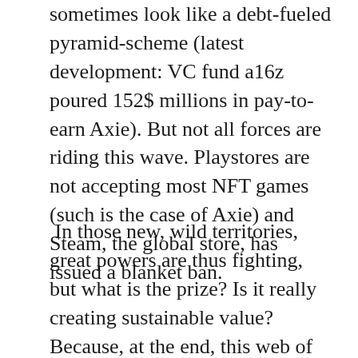sometimes look like a debt-fueled pyramid-scheme (latest development: VC fund a16z poured 152$ millions in pay-to-earn Axie). But not all forces are riding this wave. Playstores are not accepting most NFT games (such is the case of Axie) and Steam, the global store, has issued a blanket ban.
In those new, wild territories, great powers are thus fighting, but what is the prize? Is it really creating sustainable value? Because, at the end, this web of intrigue between Russia and England served little purpose. The English Raj, already internally fragile, had little means to project any durable influence in central Asia. And Russia...